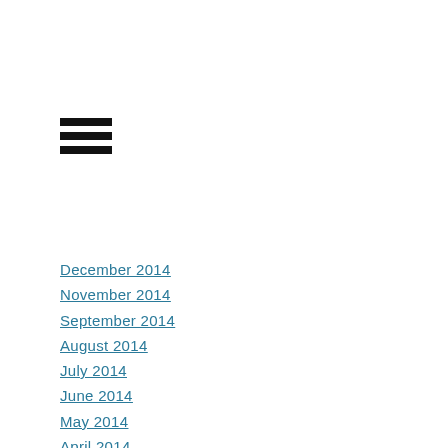[Figure (other): Hamburger menu icon — three horizontal black bars]
December 2014
November 2014
September 2014
August 2014
July 2014
June 2014
May 2014
April 2014
March 2014
February 2014
January 2014
December 2013
November 2013
October 2013
September 2013
August 2013
July 2013
June 2013
May 2013